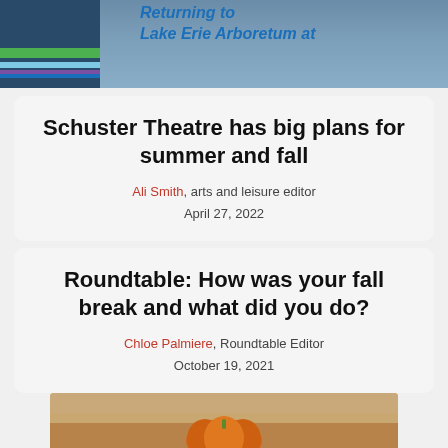[Figure (photo): Top banner image showing a partly visible logo on the left with colored stripes and blue bold italic text reading 'Returning to Lake Erie Arboretum at' on a grey/blue background]
Schuster Theatre has big plans for summer and fall
Ali Smith, arts and leisure editor
April 27, 2022
Roundtable: How was your fall break and what did you do?
Chloe Palmiere, Roundtable Editor
October 19, 2021
[Figure (photo): Bottom partial image showing a pumpkin on a wooden surface with a blurred background]